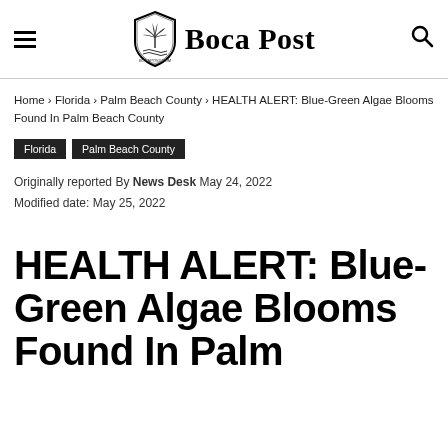Boca Post
Home › Florida › Palm Beach County › HEALTH ALERT: Blue-Green Algae Blooms Found In Palm Beach County
Florida  Palm Beach County
Originally reported By News Desk May 24, 2022
Modified date: May 25, 2022
HEALTH ALERT: Blue-Green Algae Blooms Found In Palm Beach County